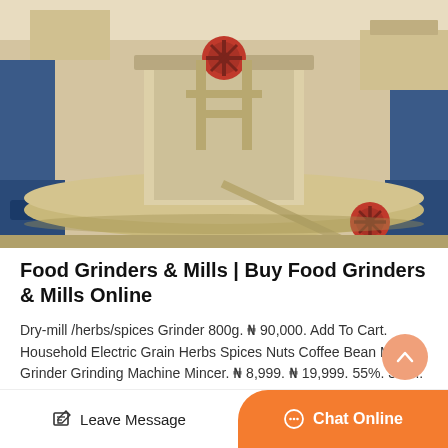[Figure (photo): Industrial food grinder/mill machines in beige/cream color with red valve wheels, blue base structures visible on left and right sides, photographed from a front angle in a factory or warehouse setting.]
Food Grinders & Mills | Buy Food Grinders & Mills Online
Dry-mill /herbs/spices Grinder 800g. ₦ 90,000. Add To Cart. Household Electric Grain Herbs Spices Nuts Coffee Bean Mill Grinder Grinding Machine Mincer. ₦ 8,999. ₦ 19,999. 55%. 3.3 ...
Leave Message
Chat Online